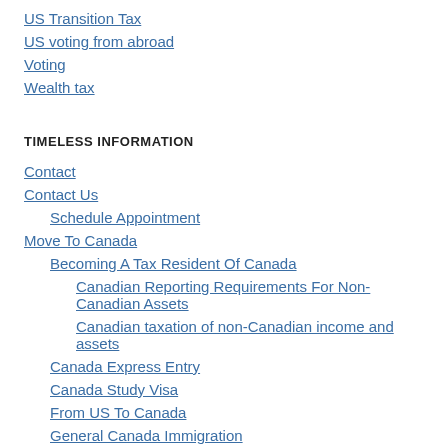US Transition Tax
US voting from abroad
Voting
Wealth tax
TIMELESS INFORMATION
Contact
Contact Us
Schedule Appointment
Move To Canada
Becoming A Tax Resident Of Canada
Canadian Reporting Requirements For Non-Canadian Assets
Canadian taxation of non-Canadian income and assets
Canada Express Entry
Canada Study Visa
From US To Canada
General Canada Immigration